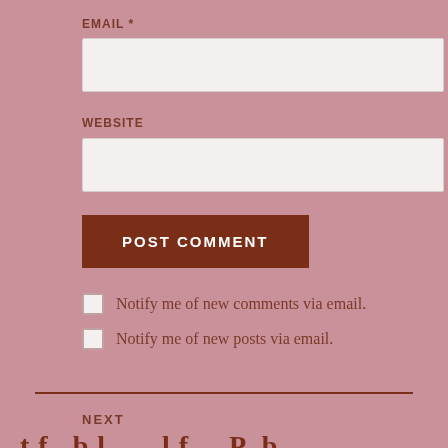EMAIL *
[Figure (other): Email input field (empty text box)]
WEBSITE
[Figure (other): Website input field (empty text box)]
POST COMMENT
Notify me of new comments via email.
Notify me of new posts via email.
NEXT